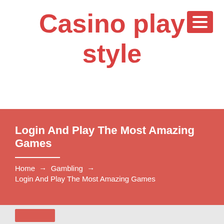Casino play style
[Figure (other): Hamburger menu icon button with three white horizontal lines on a red background square]
Login And Play The Most Amazing Games
Home → Gambling → Login And Play The Most Amazing Games